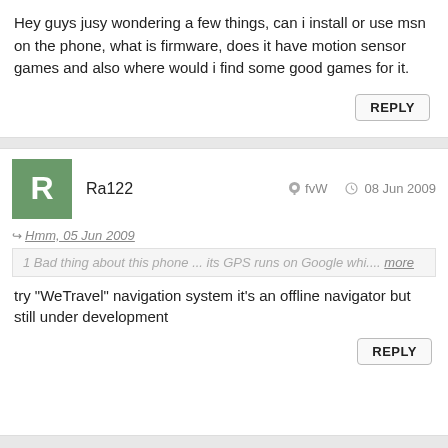Hey guys jusy wondering a few things, can i install or use msn on the phone, what is firmware, does it have motion sensor games and also where would i find some good games for it.
REPLY
Ra122   fvW   08 Jun 2009
Hmm, 05 Jun 2009
1 Bad thing about this phone ... its GPS runs on Google whi.... more
try "WeTravel" navigation system it's an offline navigator but still under development
REPLY